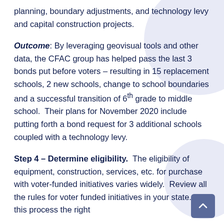planning, boundary adjustments, and technology levy and capital construction projects.
Outcome: By leveraging geovisual tools and other data, the CFAC group has helped pass the last 3 bonds put before voters – resulting in 15 replacement schools, 2 new schools, change to school boundaries and a successful transition of 6th grade to middle school. Their plans for November 2020 include putting forth a bond request for 3 additional schools coupled with a technology levy.
Step 4 – Determine eligibility. The eligibility of equipment, construction, services, etc. for purchase with voter-funded initiatives varies widely. Review all the rules for voter funded initiatives in your state. Is this process the right